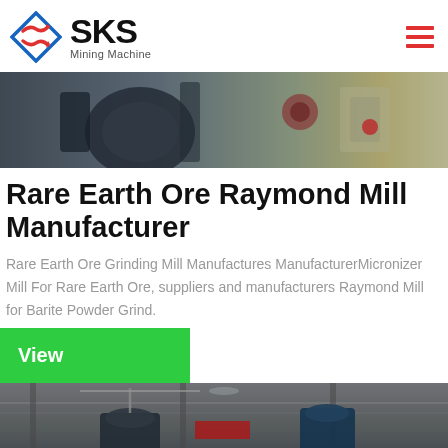[Figure (logo): SKS Mining Machine logo with red diamond/arrow shape and company name]
[Figure (photo): Close-up photo of industrial mining mill machinery, gray metal components]
Rare Earth Ore Raymond Mill Manufacturer
Rare Earth Ore Grinding Mill Manufactures ManufacturerMicronizer Mill For Rare Earth Ore, suppliers and manufacturers Raymond Mill for Barite Powder Grind.
View
[Figure (photo): Interior factory photo showing large industrial grinding mill equipment with crane, industrial ceiling]